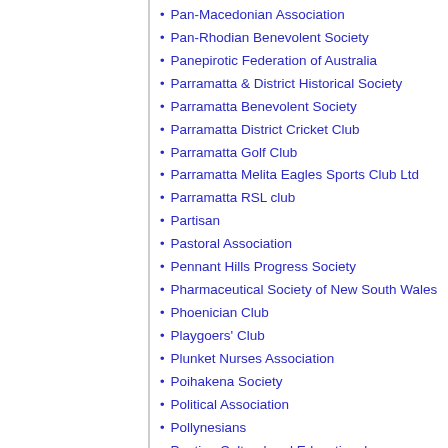Pan-Macedonian Association
Pan-Rhodian Benevolent Society
Panepirotic Federation of Australia
Parramatta & District Historical Society
Parramatta Benevolent Society
Parramatta District Cricket Club
Parramatta Golf Club
Parramatta Melita Eagles Sports Club Ltd
Parramatta RSL club
Partisan
Pastoral Association
Pennant Hills Progress Society
Pharmaceutical Society of New South Wales
Phoenician Club
Playgoers' Club
Plunket Nurses Association
Poihakena Society
Political Association
Pollynesians
Pontian Cultural and Educational Association
Pontian Foundation Panagia Soumela of Australia & NZ
Port Botany Tin Rincho Club